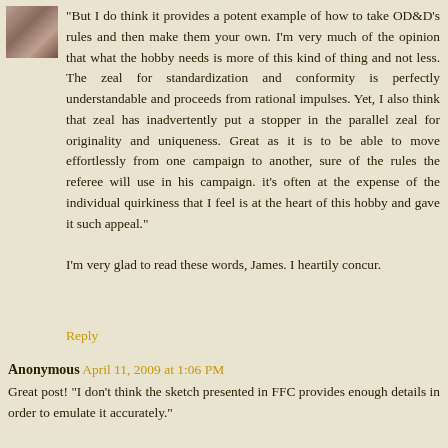[Figure (photo): Small avatar photo of a person, appears to be a woman with dark hair]
"But I do think it provides a potent example of how to take OD&D's rules and then make them your own. I'm very much of the opinion that what the hobby needs is more of this kind of thing and not less. The zeal for standardization and conformity is perfectly understandable and proceeds from rational impulses. Yet, I also think that zeal has inadvertently put a stopper in the parallel zeal for originality and uniqueness. Great as it is to be able to move effortlessly from one campaign to another, sure of the rules the referee will use in his campaign. it's often at the expense of the individual quirkiness that I feel is at the heart of this hobby and gave it such appeal."
I'm very glad to read these words, James. I heartily concur.
Reply
Anonymous April 11, 2009 at 1:06 PM
Great post! "I don't think the sketch presented in FFC provides enough details in order to emulate it accurately."